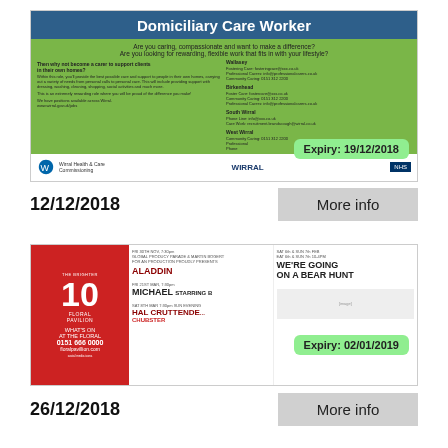[Figure (screenshot): Domiciliary Care Worker job advertisement with blue header, green body, showing Wirral council branding and expiry date badge 19/12/2018]
12/12/2018
More info
[Figure (screenshot): Floral Pavilion What's On advertisement showing Aladdin, Michael, Hal Cruttenden/Chubster, and We're Going On A Bear Hunt events, with expiry date badge 02/01/2019]
26/12/2018
More info